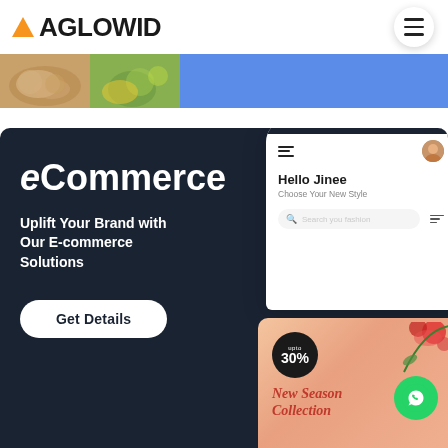[Figure (logo): Aglowid logo with orange triangle and bold black text 'AGLOWID']
[Figure (screenshot): Hamburger menu button in a circular white button top right]
[Figure (photo): Banner strip showing food images (bread/avocado smoothie) and blue section]
[Figure (screenshot): Dark navy eCommerce card with text 'eCommerce', 'Uplift Your Brand with Our E-commerce Solutions', 'Get Details' button, phone mockup showing 'Hello Jinee / Choose Your New Style' and a promo image with '30%' off and 'New Season Collection']